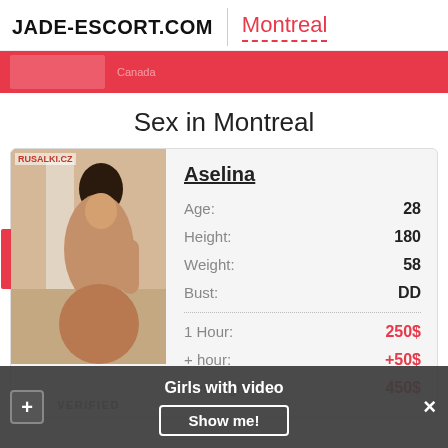JADE-ESCORT.COM | Montreal
Sex in Montreal
[Figure (photo): Photo of escort named Aselina, young woman with dark hair, kneeling pose]
| Attribute | Value |
| --- | --- |
| Age: | 28 |
| Height: | 180 |
| Weight: | 58 |
| Bust: | DD |
| 1 Hour: | 250$ |
| + hour: | +50$ |
| Overnight: | 450$ |
Girls with video
Show me!
VERIFIED